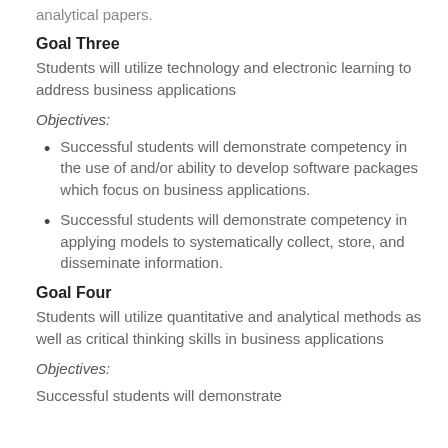analytical papers.
Goal Three
Students will utilize technology and electronic learning to address business applications
Objectives:
Successful students will demonstrate competency in the use of and/or ability to develop software packages which focus on business applications.
Successful students will demonstrate competency in applying models to systematically collect, store, and disseminate information.
Goal Four
Students will utilize quantitative and analytical methods as well as critical thinking skills in business applications
Objectives:
Successful students will demonstrate...